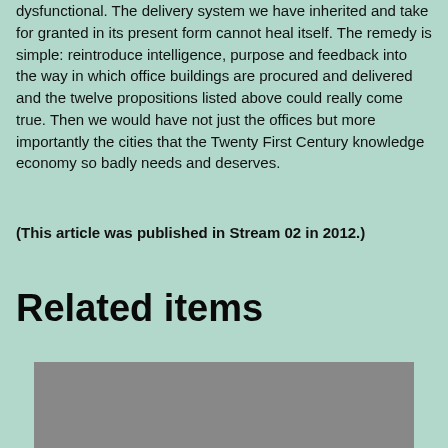dysfunctional. The delivery system we have inherited and take for granted in its present form cannot heal itself. The remedy is simple: reintroduce intelligence, purpose and feedback into the way in which office buildings are procured and delivered and the twelve propositions listed above could really come true. Then we would have not just the offices but more importantly the cities that the Twenty First Century knowledge economy so badly needs and deserves.
(This article was published in Stream 02 in 2012.)
Related items
[Figure (photo): A grey rectangular image placeholder for a related item]